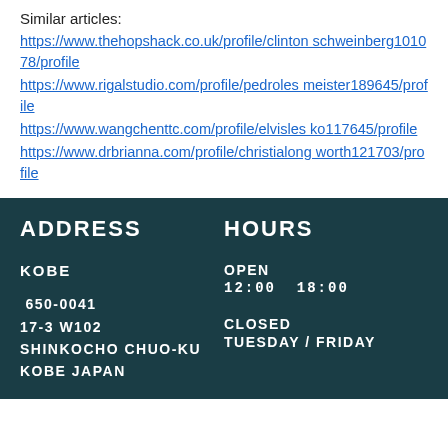Similar articles:
https://www.thehopshack.co.uk/profile/clintonschweinberg101078/profile
https://www.rigalstudio.com/profile/pedrolesmeister189645/profile
https://www.wangchenttc.com/profile/elvislesko117645/profile
https://www.drbrianna.com/profile/christalongworth121703/profile
ADDRESS
HOURS
KOBE
OPEN
12:00  18:00
650-0041
17-3 W102
SHINKOCHO CHUO-KU
KOBE JAPAN
CLOSED
TUESDAY / FRIDAY